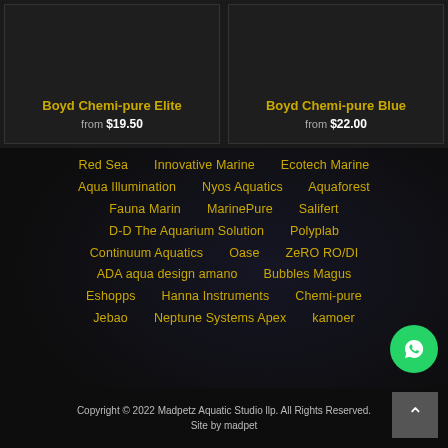Boyd Chemi-pure Elite from $19.50
Boyd Chemi-pure Blue from $22.00
Red Sea    Innovative Marine    Ecotech Marine
Aqua Illumination    Nyos Aquatics    Aquaforest
Fauna Marin    MarinePure    Salifert
D-D The Aquarium Solution    Polyplab
Continuum Aquatics    Oase    ZeRO RO/DI
ADA aqua design amano    Bubbles Magus
Eshopps    Hanna Instruments    Chemi-pure
Jebao    Neptune Systems Apex    kamoer
Copyright © 2022 Madpetz Aquatic Studio llp. All Rights Reserved. Site by madpet